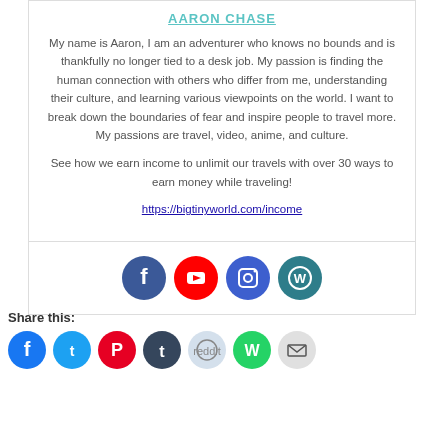AARON CHASE
My name is Aaron, I am an adventurer who knows no bounds and is thankfully no longer tied to a desk job. My passion is finding the human connection with others who differ from me, understanding their culture, and learning various viewpoints on the world. I want to break down the boundaries of fear and inspire people to travel more. My passions are travel, video, anime, and culture.
See how we earn income to unlimit our travels with over 30 ways to earn money while traveling!
https://bigtinyworld.com/income
[Figure (other): Social media icons row: Facebook, YouTube, Instagram, WordPress]
Share this:
[Figure (other): Share buttons: Facebook, Twitter, Pinterest, Tumblr, Reddit, WhatsApp, Email]